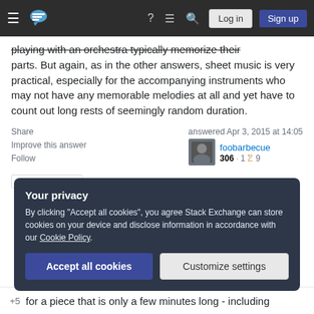Stack Exchange navigation bar with Log in and Sign up buttons
playing with an orchestra typically memorize their parts. But again, as in the other answers, sheet music is very practical, especially for the accompanying instruments who may not have any memorable melodies at all and yet have to count out long rests of seemingly random duration.
Share | Improve this answer | Follow | Add a comment
answered Apr 3, 2015 at 14:05
foobarbecue
306 1 9
Your privacy
By clicking "Accept all cookies", you agree Stack Exchange can store cookies on your device and disclose information in accordance with our Cookie Policy.
Accept all cookies | Customize settings
for a piece that is only a few minutes long - including